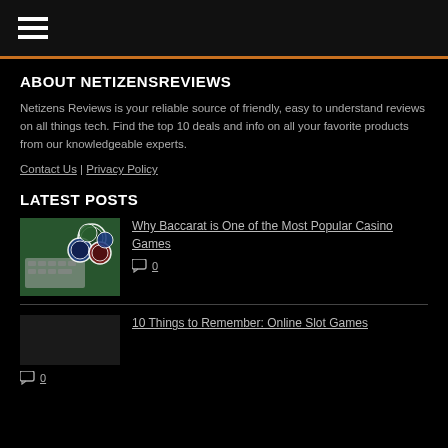Hamburger menu navigation
ABOUT NETIZENSREVIEWS
Netizens Reviews is your reliable source of friendly, easy to understand reviews on all things tech. Find the top 10 deals and info on all your favorite products from our knowledgeable experts.
Contact Us | Privacy Policy
LATEST POSTS
[Figure (photo): Casino chips and keyboard on green felt table]
Why Baccarat is One of the Most Popular Casino Games
0
10 Things to Remember: Online Slot Games
0